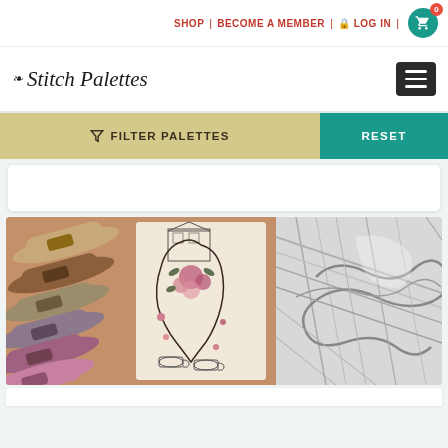SHOP | BECOME A MEMBER | LOG IN | Cart: 0
Stitch Palettes
FILTER PALETTES
RESET
[Figure (photo): Embroidery threads and needlework pattern alongside a sketch illustration]
[Figure (photo): Close-up of a grey fabric bow or ribbon, pencil/sketch style illustration]